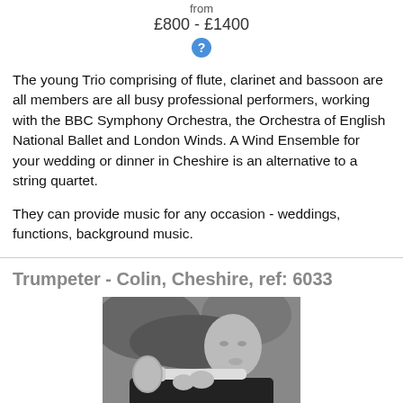from
£800 - £1400
[Figure (other): Blue question mark icon circle]
The young Trio comprising of flute, clarinet and bassoon are all members are all busy professional performers, working with the BBC Symphony Orchestra, the Orchestra of English National Ballet and London Winds. A Wind Ensemble for your wedding or dinner in Cheshire is an alternative to a string quartet.
They can provide music for any occasion - weddings, functions, background music.
Trumpeter - Colin, Cheshire, ref: 6033
[Figure (photo): Black and white photo of a bald man playing a trumpet outdoors]
Send Enquiry
More Details